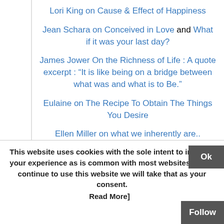Lori King on Cause & Effect of Happiness
Jean Schara on Conceived in Love and What if it was your last day?
James Jower On the Richness of Life : A quote excerpt : “It is like being on a bridge between what was and what is to Be.”
Eulaine on The Recipe To Obtain The Things You Desire
Ellen Miller on what we inherently are..
Brenda’s Amazing Journey It’s Been Such A Long Time This is an extraordinary tale of life and
This website uses cookies with the sole intent to improve your experience as is common with most websites. If you continue to use this website we will take that as your consent.
Read More]